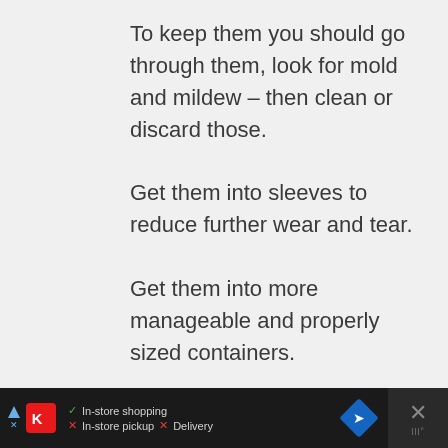To keep them you should go through them, look for mold and mildew – then clean or discard those. Get them into sleeves to reduce further wear and tear. Get them into more manageable and properly sized containers. Rent a temperature controlled storage unit and put them there.

If they are of such value (sentimental or fiscal) then why wouldn't you buy 400+ sleeves?
[Figure (screenshot): Advertisement bar at the bottom: dark background with Kroger store logo, in-store shopping checkmark, in-store pickup and delivery with X marks, a blue navigation diamond icon, and a close X button.]